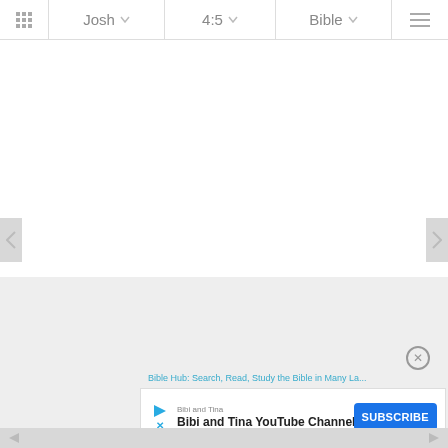Josh  4:5  Bible
[Figure (screenshot): Bible app navigation bar showing book Josh, chapter 4:5, and Bible translation selector with grid icon and hamburger menu]
[Figure (screenshot): White content area with left and right navigation arrows on sides, empty main reading area]
[Figure (screenshot): Gray background area below main content]
[Figure (screenshot): Advertisement banner: Bibi and Tina YouTube Channel with Subscribe button and close X button]